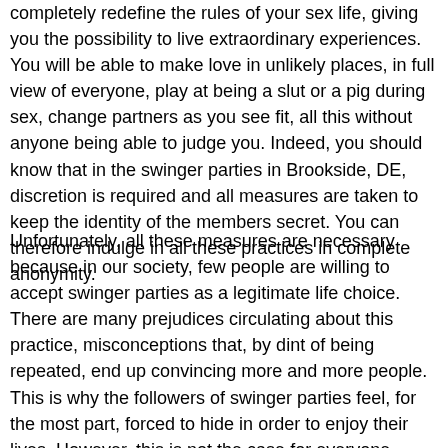completely redefine the rules of your sex life, giving you the possibility to live extraordinary experiences. You will be able to make love in unlikely places, in full view of everyone, play at being a slut or a pig during sex, change partners as you see fit, all this without anyone being able to judge you. Indeed, you should know that in the swinger parties in Brookside, DE, discretion is required and all measures are taken to keep the identity of the members secret. You can therefore indulge in all these practices in complete anonymity.
Unfortunately, all these measures are necessary because in our society, few people are willing to accept swinger parties as a legitimate life choice. There are many prejudices circulating about this practice, misconceptions that, by dint of being repeated, end up convincing more and more people. This is why the followers of swinger parties feel, for the most part, forced to hide in order to enjoy their lives. However, this is not the case for everyone, because some single people and even swinger couples in Brookside, fully assume their choices and do not hide from them. In any case, it is still a sensitive subject that should only be